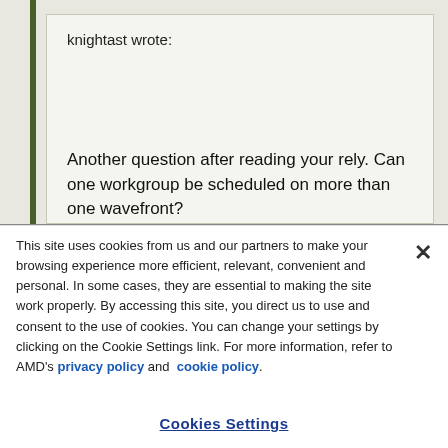knightast wrote:
Another question after reading your rely. Can one workgroup be scheduled on more than one wavefront?
This site uses cookies from us and our partners to make your browsing experience more efficient, relevant, convenient and personal. In some cases, they are essential to making the site work properly. By accessing this site, you direct us to use and consent to the use of cookies. You can change your settings by clicking on the Cookie Settings link. For more information, refer to AMD's privacy policy and cookie policy.
Cookies Settings